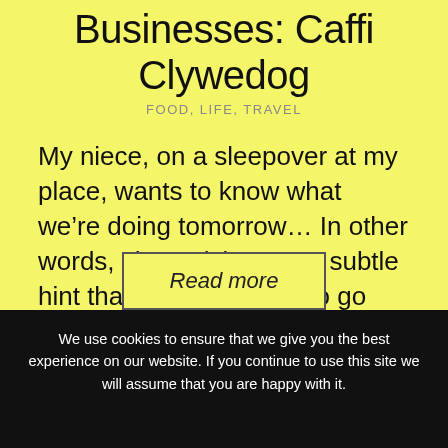Businesses: Caffi Clywedog
FOOD, LIFE, TRAVEL
My niece, on a sleepover at my place, wants to know what we're doing tomorrow… In other words, she's giving me a subtle hint that she would like to go ...
Read more
We use cookies to ensure that we give you the best experience on our website. If you continue to use this site we will assume that you are happy with it.